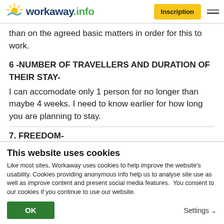workaway.info | Inscription
than on the agreed basic matters in order for this to work.
6 -NUMBER OF TRAVELLERS AND DURATION OF THEIR STAY-
I can accomodate only 1 person for no longer than maybe 4 weeks. I need to know earlier for how long you are planning to stay.
7. FREEDOM-
This website uses cookies
Like most sites, Workaway uses cookies to help improve the website's usability. Cookies providing anonymous info help us to analyse site use as well as improve content and present social media features.  You consent to our cookies if you continue to use our website.
OK | Settings